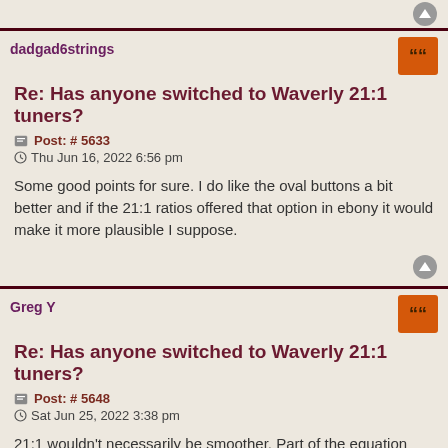dadgad6strings
Re: Has anyone switched to Waverly 21:1 tuners?
Post: # 5633
Thu Jun 16, 2022 6:56 pm
Some good points for sure. I do like the oval buttons a bit better and if the 21:1 ratios offered that option in ebony it would make it more plausible I suppose.
Greg Y
Re: Has anyone switched to Waverly 21:1 tuners?
Post: # 5648
Sat Jun 25, 2022 3:38 pm
21:1 wouldn't necessarily be smoother. Part of the equation depends on the installation and if the tuner post is getting pulled forward under tension. As for the question of whether they're more precise.... you'll be turning the knob more and ultimately the tuning depends on your ability to hear the correct pitch,if you've used an accurate tuner, and the tensile strength of the string. The original Grover 12:1 used by Martin in the 193...